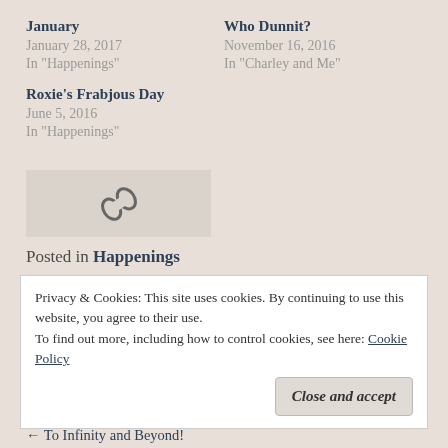January
January 28, 2017
In "Happenings"
Who Dunnit?
November 16, 2016
In "Charley and Me"
Roxie's Frabjous Day
June 5, 2016
In "Happenings"
[Figure (other): Link/chain icon in a grey box]
Posted in Happenings
Privacy & Cookies: This site uses cookies. By continuing to use this website, you agree to their use.
To find out more, including how to control cookies, see here: Cookie Policy
Close and accept
← To Infinity and Beyond!